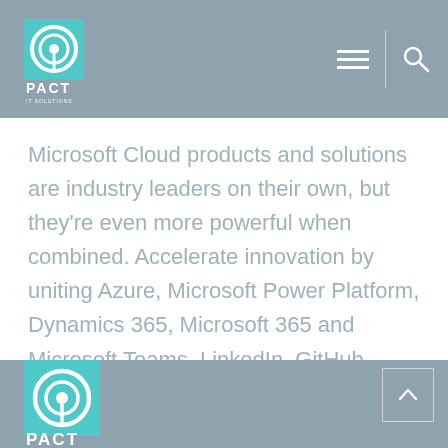PACT IT SOLUTIONS
Microsoft Cloud products and solutions are industry leaders on their own, but they're even more powerful when combined. Accelerate innovation by uniting Azure, Microsoft Power Platform, Dynamics 365, Microsoft 365 and Microsoft Teams, LinkedIn, GitHub, Microsoft Security and tailored industry solutions.
[Figure (logo): PACT IT Solutions logo in footer area]
PACT IT SOLUTIONS footer with back-to-top button